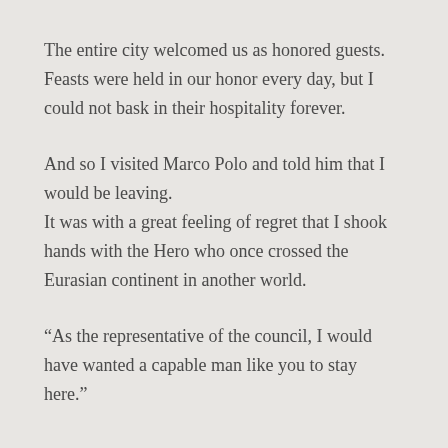The entire city welcomed us as honored guests. Feasts were held in our honor every day, but I could not bask in their hospitality forever.
And so I visited Marco Polo and told him that I would be leaving.
It was with a great feeling of regret that I shook hands with the Hero who once crossed the Eurasian continent in another world.
“As the representative of the council, I would have wanted a capable man like you to stay here.”